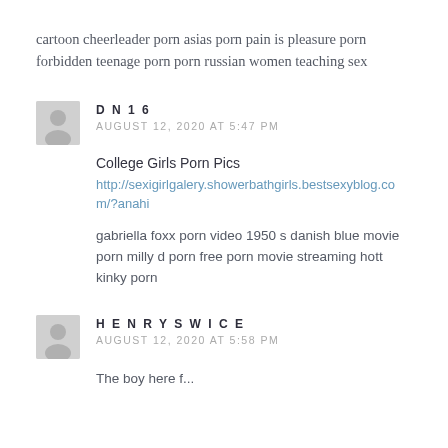cartoon cheerleader porn asias porn pain is pleasure porn forbidden teenage porn porn russian women teaching sex
DN16
AUGUST 12, 2020 AT 5:47 PM
College Girls Porn Pics
http://sexigirlgalery.showerbathgirls.bestsexyblog.com/?anahi
gabriella foxx porn video 1950 s danish blue movie porn milly d porn free porn movie streaming hott kinky porn
HENRYSWICE
AUGUST 12, 2020 AT 5:58 PM
The boy here f...